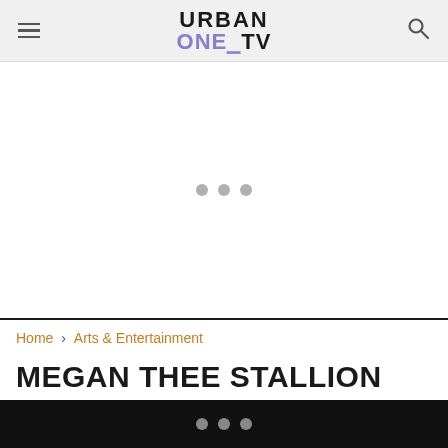URBAN ONE TV
[Figure (other): Advertisement loading placeholder with three grey dots]
Home › Arts & Entertainment
MEGAN THEE STALLION SHOWS OFF HER FRESH FACE FOR THE